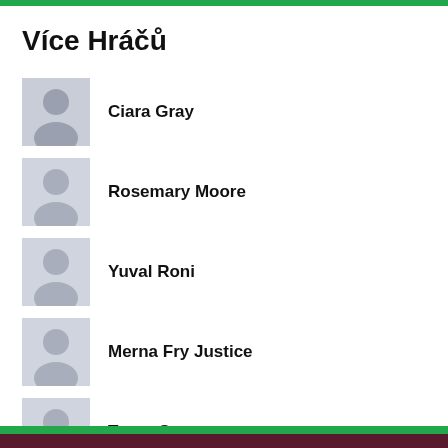Více Hráčů
Ciara Gray
Rosemary Moore
Yuval Roni
Merna Fry Justice
Tugar Serge
Cindy Joie